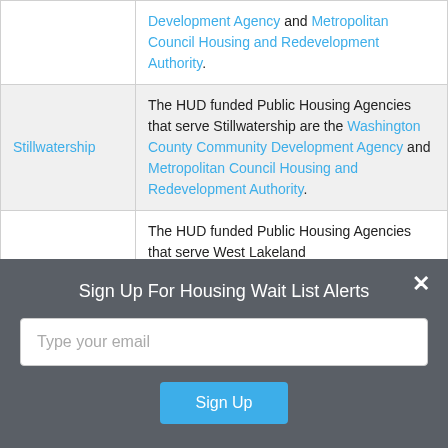| Location | Description |
| --- | --- |
|  | Development Agency and Metropolitan Council Housing and Redevelopment Authority. |
| Stillwatership | The HUD funded Public Housing Agencies that serve Stillwatership are the Washington County Community Development Agency and Metropolitan Council Housing and Redevelopment Authority. |
|  | The HUD funded Public Housing Agencies that serve West Lakeland |
Sign Up For Housing Wait List Alerts
Type your email
Sign Up